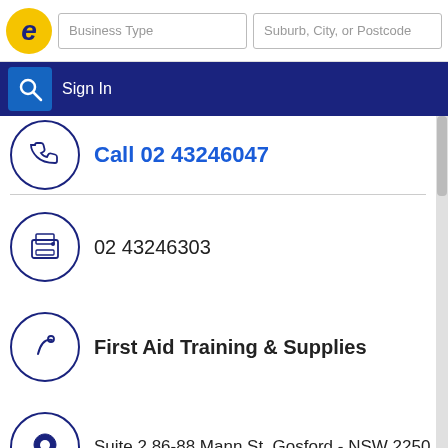Business Type | Suburb, City, or Postcode | Sign In
Call 02 43246047
02 43246303
First Aid Training & Supplies
Suite 2 86-88 Mann St, Gosford - NSW 2250
stjohn@stjohnsa.com.au
www.stjohnnsw.com.au